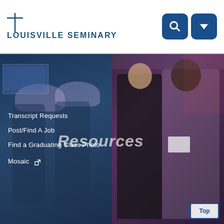Louisville Seminary
[Figure (photo): Left half: group of women wearing decorative hats at an event, with dark blue overlay. Right half: two women smiling at a formal event, one in black and one in black-and-white patterned dress.]
Transcript Requests
Post/Find A Job
Find a Graduating Class Photo
Mosaic
Resources